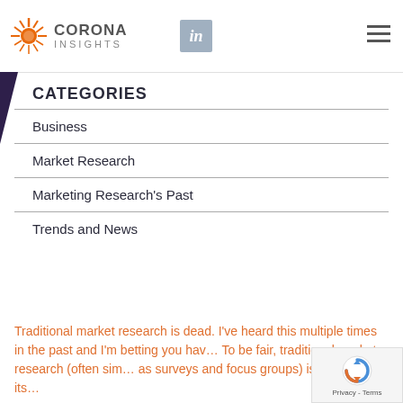[Figure (logo): Corona Insights logo with orange sunburst icon and company name]
CATEGORIES
Business
Market Research
Marketing Research's Past
Trends and News
Traditional market research is dead.  I've heard this multiple times in the past and I'm betting you hav…  To be fair, traditional market research (often sim… as surveys and focus groups) isn't without its…